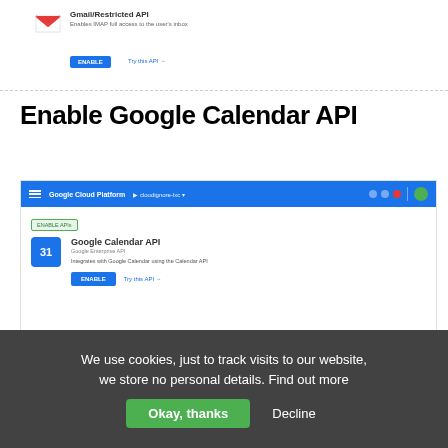[Figure (screenshot): Gmail API enable screen showing Gmail icon, API name, description, Enable button and try link]
Enable Google Calendar API
[Figure (screenshot): Google Cloud Platform console screenshot showing Google Calendar API with blue calendar icon showing '31', API title, description by Google, Enable button and Try this API link]
Enable Google People API
We use cookies, just to track visits to our website, we store no personal details. Find out more
Okay, thanks
Decline